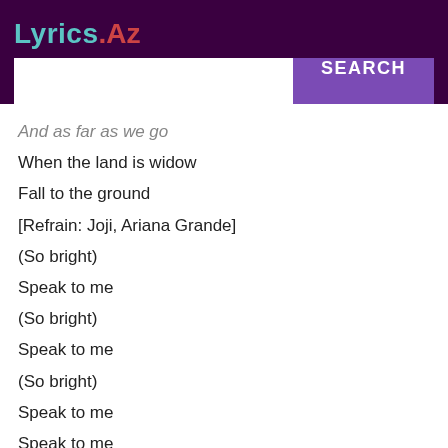Lyrics.Az
And as far as we go
When the land is widow
Fall to the ground
[Refrain: Joji, Ariana Grande]
(So bright)
Speak to me
(So bright)
Speak to me
(So bright)
Speak to me
Speak to me
(So bright)
Speak to me
Somebody
Please don't run away
Speak to me